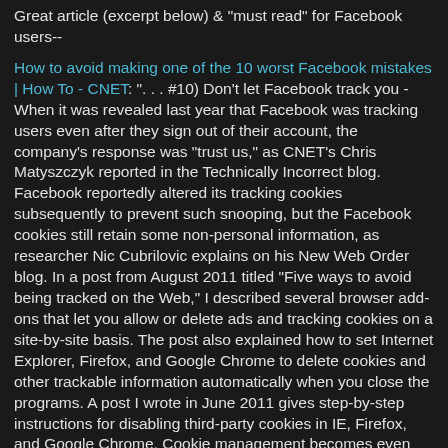Great article (excerpt below) & 'must read' for Facebook users--
How to avoid making one of the 10 worst Facebook mistakes | How To - CNET: ". . . #10) Don't let Facebook track you - When it was revealed last year that Facebook was tracking users even after they sign out of their account, the company's response was "trust us," as CNET's Chris Matyszczyk reported in the Technically Incorrect blog. Facebook reportedly altered its tracking cookies subsequently to prevent such snooping, but the Facebook cookies still retain some non-personal information, as researcher Nic Cubrilovic explains on his New Web Order blog. In a post from August 2011 titled "Five ways to avoid being tracked on the Web," I described several browser add-ons that let you allow or delete ads and tracking cookies on a site-by-site basis. The post also explained how to set Internet Explorer, Firefox, and Google Chrome to delete cookies and other trackable information automatically when you close the programs. A post I wrote in June 2011 gives step-by-step instructions for disabling third-party cookies in IE, Firefox, and Google Chrome. Cookie management becomes even more important as Facebook expands its